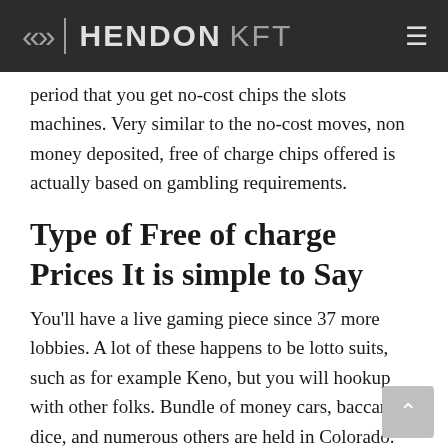«» | HENDON KFT  ≡
period that you get no-cost chips the slots machines. Very similar to the no-cost moves, non money deposited, free of charge chips offered is actually based on gambling requirements.
Type of Free of charge Prices It is simple to Say
You'll have a live gaming piece since 37 more lobbies. A lot of these happens to be lotto suits, such as for example Keno, but you will hookup with other folks. Bundle of money cars, baccarat, dice, and numerous others are held in Colorado. Real money casino slots are No deposit sizzling hot Added bonus considered the hottest